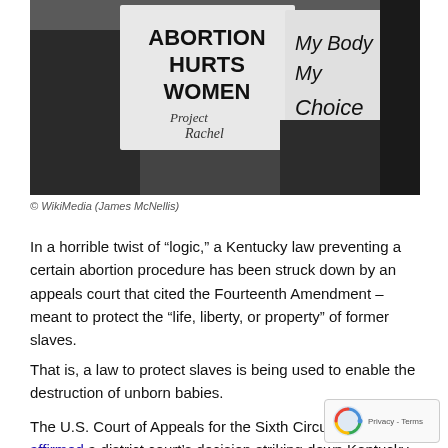[Figure (photo): Protesters holding signs: one reads 'ABORTION HURTS WOMEN Project Rachel', another reads 'My Body My Choice']
© WikiMedia (James McNellis)
In a horrible twist of “logic,” a Kentucky law preventing a certain abortion procedure has been struck down by an appeals court that cited the Fourteenth Amendment – meant to protect the “life, liberty, or property” of former slaves.
That is, a law to protect slaves is being used to enable the destruction of unborn babies.
The U.S. Court of Appeals for the Sixth Circuit on May affirmed a district court’s decision striking down Kentucky HB